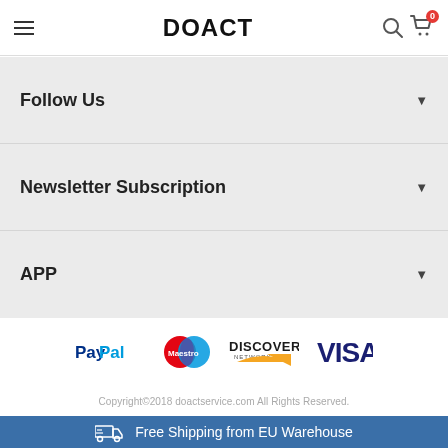DOACT
Follow Us
Newsletter Subscription
APP
[Figure (logo): Payment method logos: PayPal, Maestro, Discover Network, Visa]
Copyright©2018 doactservice.com All Rights Reserved.
Free Shipping from EU Warehouse